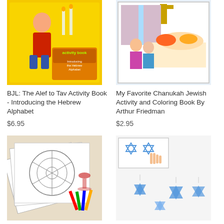[Figure (photo): Book cover: BJL: The Alef to Tav Activity Book - Introducing the Hebrew Alphabet. Yellow background with cartoon boy and candlesticks.]
BJL: The Alef to Tav Activity Book - Introducing the Hebrew Alphabet
$6.95
[Figure (photo): Book cover: My Favorite Chanukah Jewish Activity and Coloring Book By Arthur Friedman. Illustrated children near a menorah and holiday table.]
My Favorite Chanukah Jewish Activity and Coloring Book By Arthur Friedman
$2.95
[Figure (photo): Passover coloring/activity pages spread out showing seder plate, Jewish holiday scenes, colored pencils.]
[Figure (photo): Star of David stickers and ornaments: blue glittery Star of David decorations, a hand holding one, multiple stars shown.]